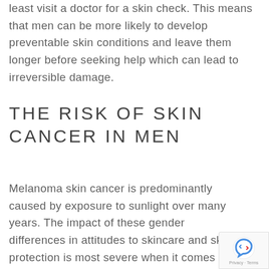least visit a doctor for a skin check. This means that men can be more likely to develop preventable skin conditions and leave them longer before seeking help which can lead to irreversible damage.
THE RISK OF SKIN CANCER IN MEN
Melanoma skin cancer is predominantly caused by exposure to sunlight over many years. The impact of these gender differences in attitudes to skincare and skin protection is most severe when it comes to skin cancer.